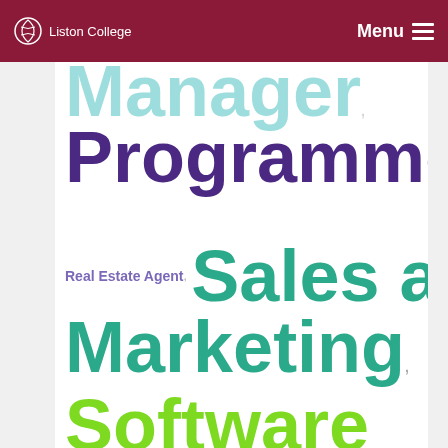Liston College  Menu
Manager,
Programmer,
Real Estate Agent, Sales and Marketing,
Software Architect,